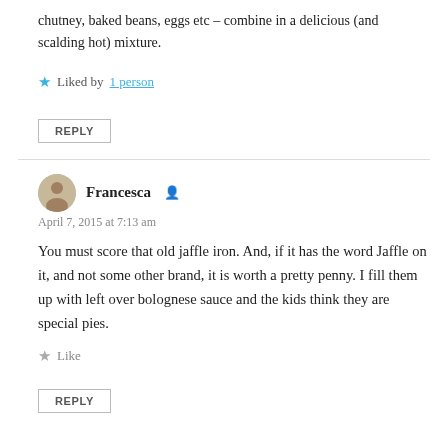chutney, baked beans, eggs etc – combine in a delicious (and scalding hot) mixture.
Liked by 1 person
REPLY
Francesca
April 7, 2015 at 7:13 am
You must score that old jaffle iron. And, if it has the word Jaffle on it, and not some other brand, it is worth a pretty penny. I fill them up with left over bolognese sauce and the kids think they are special pies.
Like
REPLY